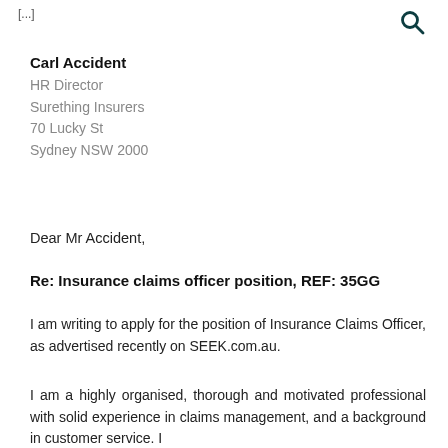[...]
Carl Accident
HR Director
Surething Insurers
70 Lucky St
Sydney NSW 2000
Dear Mr Accident,
Re: Insurance claims officer position, REF: 35GG
I am writing to apply for the position of Insurance Claims Officer, as advertised recently on SEEK.com.au.
I am a highly organised, thorough and motivated professional with solid experience in claims management, and a background in customer service. I